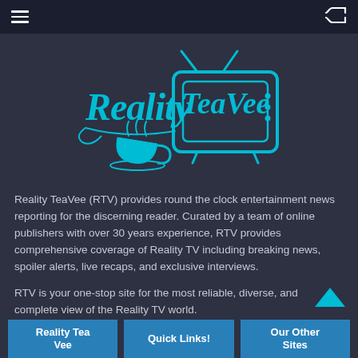Navigation bar with menu and shuffle icons
[Figure (logo): Reality TeaVee logo — stylized cursive text 'Reality TeaVee' in cyan/blue with a retro television set graphic and a teacup with steam, all in cyan/teal color on dark background]
Reality TeaVee (RTV) provides round the clock entertainment news reporting for the discerning reader. Curated by a team of online publishers with over 30 years experience, RTV provides comprehensive coverage of Reality TV including breaking news, spoiler alerts, live recaps, and exclusive interviews.
RTV is your one-stop site for the most reliable, diverse, and complete view of the Reality TV world.
Reality Tea Vee
Quick Links!
Our Other Sites